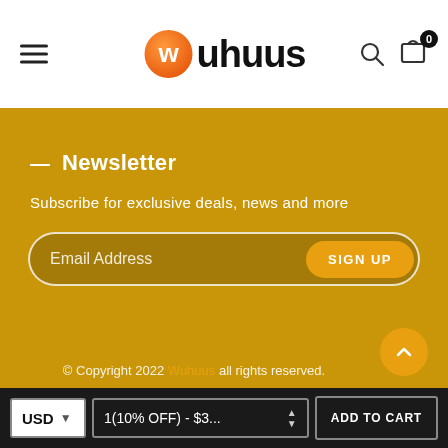[Figure (logo): Wuhuus logo with orange circular icon and black bold text]
— Newsletter
Subscribe for exclusive deals, news and more
Email Address  SIGN UP
© Copyright 2022 Wuhuus all rights reserved.
USD  1(10% OFF) - $3...  ADD TO CART